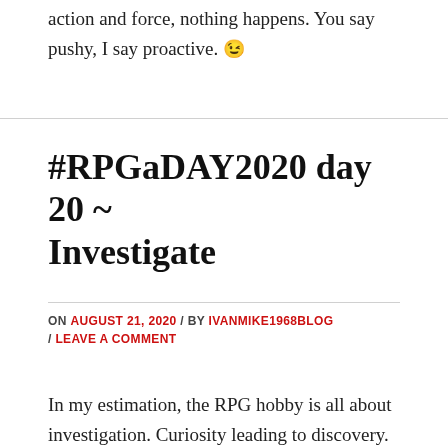action and force, nothing happens. You say pushy, I say proactive. 😉
#RPGaDAY2020 day 20 ~ Investigate
ON AUGUST 21, 2020 / BY IVANMIKE1968BLOG / LEAVE A COMMENT
In my estimation, the RPG hobby is all about investigation. Curiosity leading to discovery.